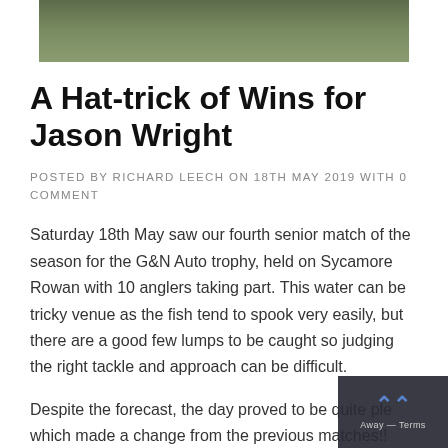[Figure (photo): Top portion of a photo showing a person outdoors on grass, cropped to show lower torso and hands in meditation pose, wearing dark clothing.]
A Hat-trick of Wins for Jason Wright
POSTED BY RICHARD LEECH ON 18TH MAY 2019 WITH 0 COMMENT
Saturday 18th May saw our fourth senior match of the season for the G&N Auto trophy, held on Sycamore Rowan with 10 anglers taking part. This water can be tricky venue as the fish tend to spook very easily, but there are a good few lumps to be caught so judging the right tackle and approach can be difficult.
Despite the forecast, the day proved to be quite ple which made a change from the previous matches!!